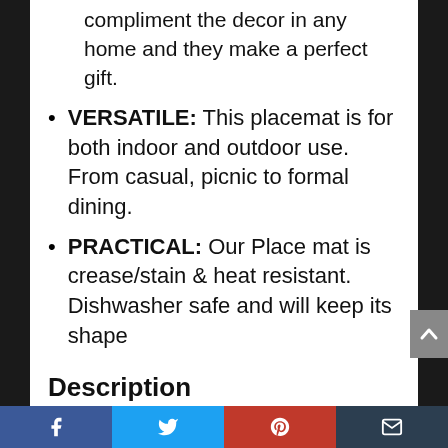compliment the decor in any home and they make a perfect gift.
VERSATILE: This placemat is for both indoor and outdoor use. From casual, picnic to formal dining.
PRACTICAL: Our Place mat is crease/stain & heat resistant. Dishwasher safe and will keep its shape
Description
GET THE LOOK WITHOUT THE WORK: No more washing, shrinking and ironing and